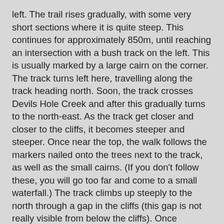left. The trail rises gradually, with some very short sections where it is quite steep. This continues for approximately 850m, until reaching an intersection with a bush track on the left. This is usually marked by a large cairn on the corner. The track turns left here, travelling along the track heading north. Soon, the track crosses Devils Hole Creek and after this gradually turns to the north-east. As the track get closer and closer to the cliffs, it becomes steeper and steeper. Once near the top, the walk follows the markers nailed onto the trees next to the track, as well as the small cairns. (If you don't follow these, you will go too far and come to a small waterfall.) The track climbs up steeply to the north through a gap in the cliffs (this gap is not really visible from below the cliffs). Once emerging from the gap, the trail becomes better managed and much more defined. It then winds further north-east until coming to an intersection with Cliff Rd. There are great views over the Megalong Valley leading up to here.